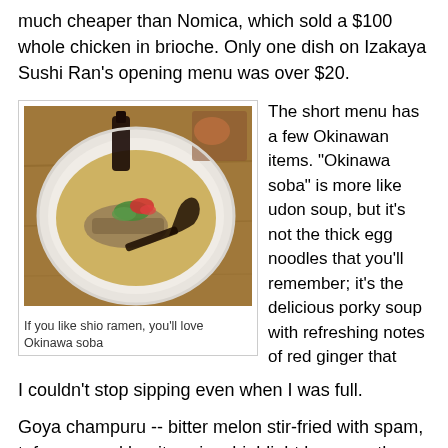much cheaper than Nomica, which sold a $100 whole chicken in brioche. Only one dish on Izakaya Sushi Ran's opening menu was over $20.
[Figure (photo): Bowl of Okinawa soba soup with broth, noodles, red ginger, green onions, and a dark ceramic spoon, served in a white ceramic bowl on a wooden surface.]
If you like shio ramen, you'll love Okinawa soba
The short menu has a few Okinawan items. "Okinawa soba" is more like udon soup, but it's not the thick egg noodles that you'll remember; it's the delicious porky soup with refreshing notes of red ginger that I couldn't stop sipping even when I was full.
Goya champuru -- bitter melon stir-fried with spam, tofu, egg and bonito -- is a highlight because the restaurant makes its own spam. I often order this dish and this is one of the best